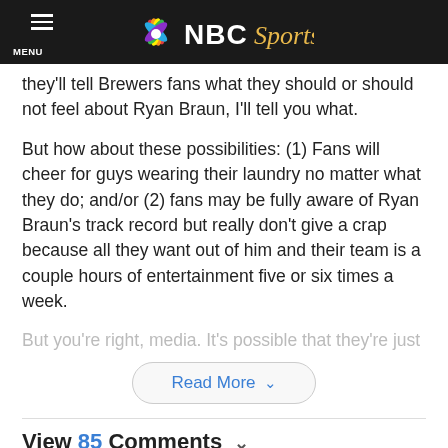NBC Sports
they'll tell Brewers fans what they should or should not feel about Ryan Braun, I'll tell you what.
But how about these possibilities: (1) Fans will cheer for guys wearing their laundry no matter what they do; and/or (2) fans may be fully aware of Ryan Braun's track record but really don't give a crap because all they want out of him and their team is a couple hours of entertainment five or six times a week.
But you're right, media. It's possible that they're just
Read More
View 85 Comments